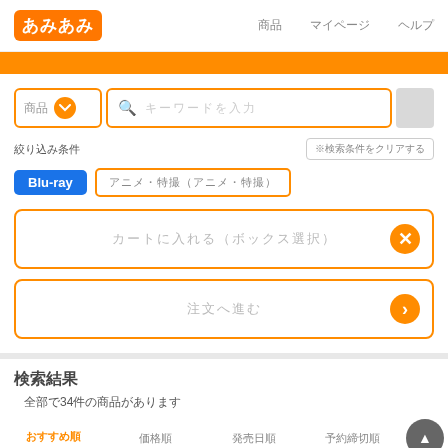あみあみ　　商品　　マイページ　　ヘルプ
[Figure (screenshot): Orange navigation bar]
商品カテゴリ dropdown and search bar with placeholder
絞り込み条件
Blu-ray　アニメ・特撮（アニメ・特撮）
カートに入れる（ボックス選択）
注文へ進む
検索結果
全部で34件の商品があります
タブ: おすすめ順　価格順　発売日順　予約締切順
BD ヒプノシスマイク-Division Rap BattleTHE STAGE-Track to Miracle- (Blu-ray Disc)